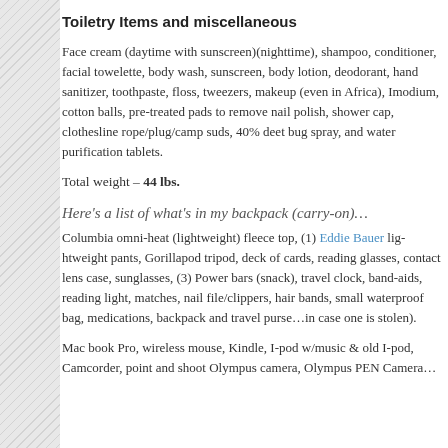Toiletry Items and miscellaneous
Face cream (daytime with sunscreen)(nighttime), shampoo, conditioner, facial towelette, body wash, sunscreen, body lotion, deodorant, hand sanitizer, toothpaste, floss, tweezers, makeup (even in Africa), Imodium, cotton balls, pre-treated pads to remove nail polish, shower cap, clothesline rope/plug/camp suds, 40% deet bug spray, and water purification tablets.
Total weight – 44 lbs.
Here's a list of what's in my backpack (carry-on)…
Columbia omni-heat (lightweight) fleece top, (1) Eddie Bauer lightweight pants, Gorillapod tripod, deck of cards, reading glasses, contact lens case, sunglasses, (3) Power bars (snack), travel clock, band-aids, reading light, matches, nail file/clippers, hair bands, small waterproof bag, medications, backpack and travel purse…in case one is stolen).
Mac book Pro, wireless mouse, Kindle, I-pod w/music & old I-pod, Camcorder, point and shoot Olympus camera, Olympus PEN Camera…